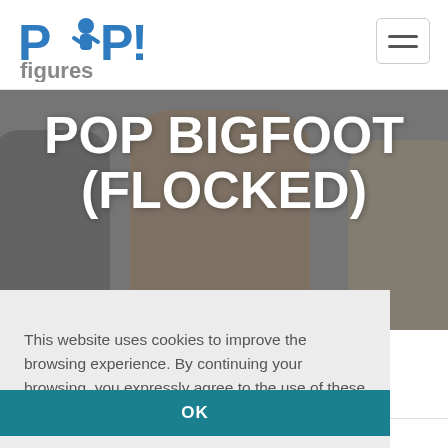[Figure (logo): POP! figures logo — 'POP!' in large blue bold text with a small person icon, 'figures' in grey below]
[Figure (other): Hamburger/navigation menu button in top-right corner]
POP BIGFOOT (FLOCKED)
[Figure (photo): Hero banner image showing Funko Pop figures (Bigfoot flocked and others) against a grey background]
This website uses cookies to improve the browsing experience. By continuing your browsing, you expressly agree to the use of these cookies.  Read more
OK
Home / Public Domain / Bigfoot (Flocked)